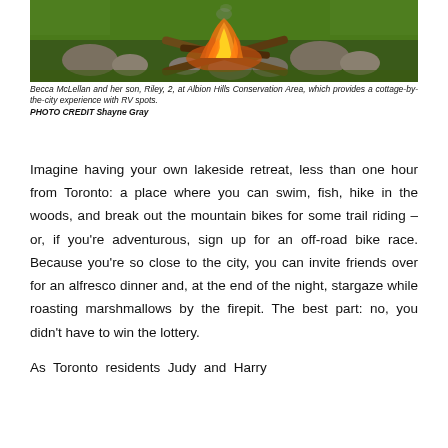[Figure (photo): A campfire with flames burning over logs, surrounded by rocks, on green grass. Related to Albion Hills Conservation Area.]
Becca McLellan and her son, Riley, 2, at Albion Hills Conservation Area, which provides a cottage-by-the-city experience with RV spots.
PHOTO CREDIT Shayne Gray
Imagine having your own lakeside retreat, less than one hour from Toronto: a place where you can swim, fish, hike in the woods, and break out the mountain bikes for some trail riding – or, if you're adventurous, sign up for an off-road bike race. Because you're so close to the city, you can invite friends over for an alfresco dinner and, at the end of the night, stargaze while roasting marshmallows by the firepit. The best part: no, you didn't have to win the lottery.
As Toronto residents Judy and Harry